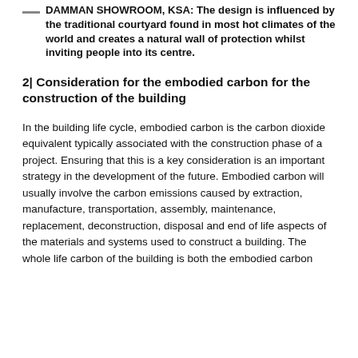DAMMAN SHOWROOM, KSA: The design is influenced by the traditional courtyard found in most hot climates of the world and creates a natural wall of protection whilst inviting people into its centre.
2| Consideration for the embodied carbon for the construction of the building
In the building life cycle, embodied carbon is the carbon dioxide equivalent typically associated with the construction phase of a project. Ensuring that this is a key consideration is an important strategy in the development of the future. Embodied carbon will usually involve the carbon emissions caused by extraction, manufacture, transportation, assembly, maintenance, replacement, deconstruction, disposal and end of life aspects of the materials and systems used to construct a building. The whole life carbon of the building is both the embodied carbon